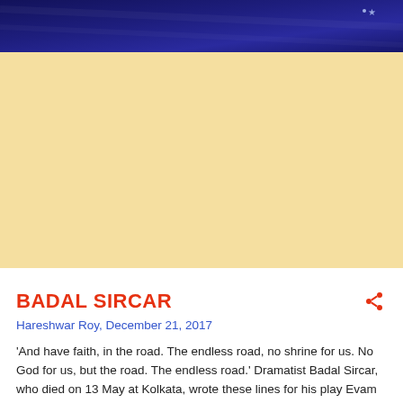[Figure (photo): Dark blue banner header with subtle texture and a small star-like dot in the upper right area]
[Figure (other): Advertisement placeholder area with pale yellow/cream background]
BADAL SIRCAR
Hareshwar Roy, December 21, 2017
'And have faith, in the road. The endless road, no shrine for us. No God for us, but the road. The endless road.' Dramatist Badal Sircar, who died on 13 May at Kolkata, wrote these lines for his play Evam Indrajit. Sircar, a pioneer and a multifaceted cultural personality, is an influential